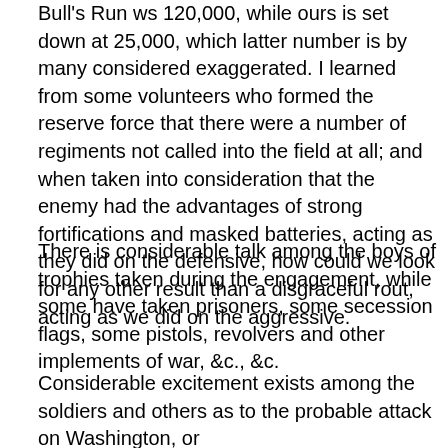Bull's Run ws 120,000, while ours is set down at 25,000, which latter number is by many considered exaggerated. I learned from some volunteers who formed the reserve force that there were a number of regiments not called into the field at all; and when taken into consideration that the enemy had the advantages of strong fortifications and masked batteries, acting as they did on the defensive, how could we look for any other result than a disgraceful rout, acting as we did on the aggressive.
There is considerable talk among the boys of trophies taken during the engagement, while some have taken prisoners, some secession flags, some pistols, revolvers and other implements of war, &c., &c.
Considerable excitement exists among the soldiers and others as to the probable attack on Washington, or